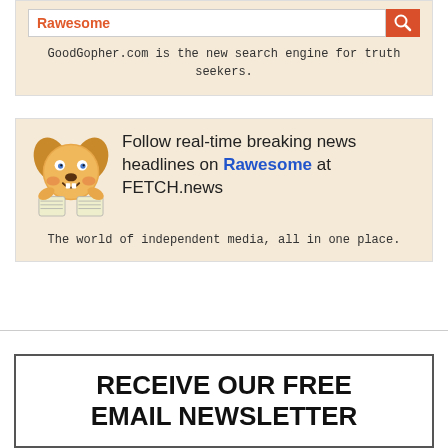[Figure (screenshot): Search bar showing 'Rawesome' in orange text with a red search button icon]
GoodGopher.com is the new search engine for truth seekers.
[Figure (illustration): Cartoon dog mascot holding newspapers, followed by text: Follow real-time breaking news headlines on Rawesome at FETCH.news]
The world of independent media, all in one place.
RECEIVE OUR FREE EMAIL NEWSLETTER